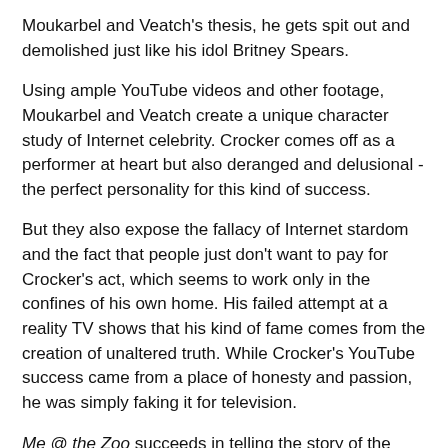Moukarbel and Veatch's thesis, he gets spit out and demolished just like his idol Britney Spears.
Using ample YouTube videos and other footage, Moukarbel and Veatch create a unique character study of Internet celebrity. Crocker comes off as a performer at heart but also deranged and delusional - the perfect personality for this kind of success.
But they also expose the fallacy of Internet stardom and the fact that people just don't want to pay for Crocker's act, which seems to work only in the confines of his own home. His failed attempt at a reality TV shows that his kind of fame comes from the creation of unaltered truth. While Crocker's YouTube success came from a place of honesty and passion, he was simply faking it for television.
Me @ the Zoo succeeds in telling the story of the YouTube phenomenon through the voice of one of its biggest stars in an effective and innovative manner.